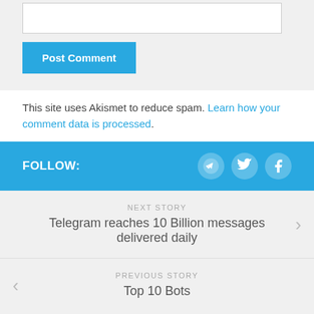[Figure (screenshot): Website text input field (white rectangle)]
[Figure (screenshot): Post Comment button (blue rounded rectangle with white bold text)]
This site uses Akismet to reduce spam. Learn how your comment data is processed.
FOLLOW:
[Figure (infographic): Social media icons: Telegram, Twitter, Facebook on blue bar]
NEXT STORY
Telegram reaches 10 Billion messages delivered daily
PREVIOUS STORY
Top 10 Bots